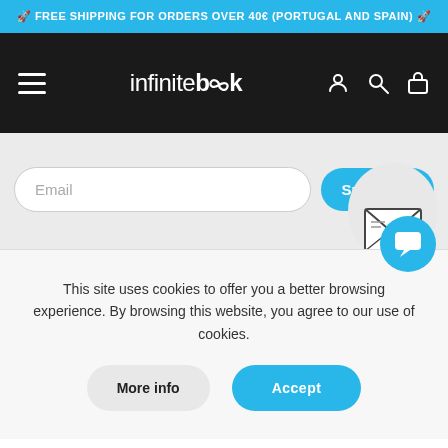🚀 FREE SHIPPING FOR ORDERS OVER 40€ (PORTUGAL AND SPAIN) 🚀
[Figure (screenshot): Infinite Book e-commerce navigation bar with hamburger menu, logo 'infinitebook', and icons for user, search, and shopping bag on dark background]
[Figure (screenshot): Email subscription input field with 'Email' placeholder and a cyan 'Subscribe' button, with an envelope graphic bubble to the right]
This site uses cookies to offer you a better browsing experience. By browsing this website, you agree to our use of cookies.
[Figure (illustration): Cyan circular chat bubble icon]
More info
Accept